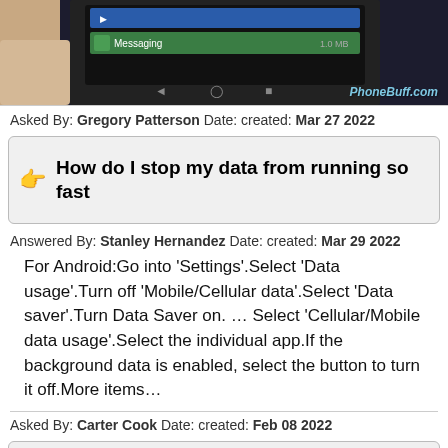[Figure (photo): Partial image of a smartphone screen showing Messaging app open, with PhoneBuff.com watermark in bottom right corner]
Asked By: Gregory Patterson Date: created: Mar 27 2022
How do I stop my data from running so fast
Answered By: Stanley Hernandez Date: created: Mar 29 2022
For Android:Go into ‘Settings’.Select ‘Data usage’.Turn off ‘Mobile/Cellular data’.Select ‘Data saver’.Turn Data Saver on. … Select ‘Cellular/Mobile data usage’.Select the individual app.If the background data is enabled, select the button to turn it off.More items…
Asked By: Carter Cook Date: created: Feb 08 2022
How many GB is a 2 hour movie